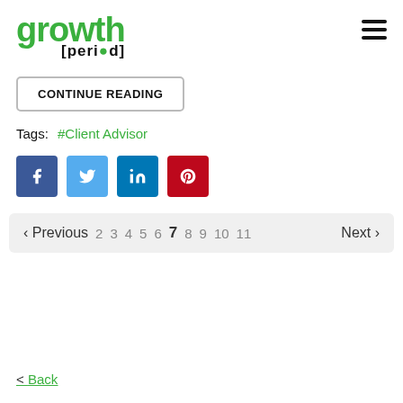growth [period]
CONTINUE READING
Tags: #Client Advisor
[Figure (other): Social share icons: Facebook, Twitter, LinkedIn, Pinterest]
< Previous  2 3 4 5 6 7 8 9 10 11  Next >
< Back